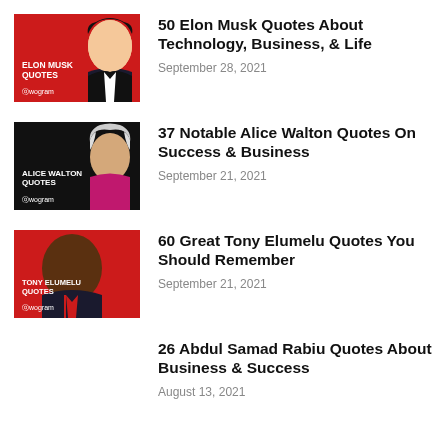[Figure (illustration): Elon Musk Quotes thumbnail with red background]
50 Elon Musk Quotes About Technology, Business, & Life
September 28, 2021
[Figure (illustration): Alice Walton Quotes thumbnail with dark background]
37 Notable Alice Walton Quotes On Success & Business
September 21, 2021
[Figure (illustration): Tony Elumelu Quotes thumbnail with red background]
60 Great Tony Elumelu Quotes You Should Remember
September 21, 2021
26 Abdul Samad Rabiu Quotes About Business & Success
August 13, 2021